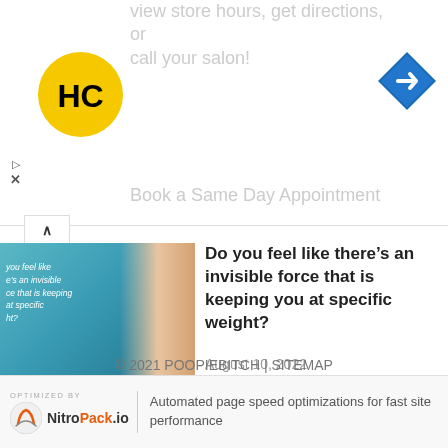[Figure (screenshot): Ad banner with HC logo (yellow circle with HC text in black), navigation arrow icon (blue diamond with right arrow), partial ad text for salon hours/directions/booking, and ad close controls]
view store hours, get directions, or call your salon!
Book a Same Day Appointment
Do you feel like there’s an invisible force that is keeping you at specific weight?
August 10, 2022
Doctor Plays Overrated/Underrated
August 10, 2022
© 2021 POOPIEBITCH | SITEMAP
Automated page speed optimizations for fast site performance